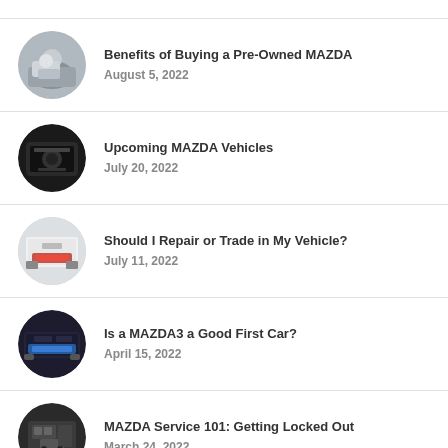Benefits of Buying a Pre-Owned MAZDA
August 5, 2022
Upcoming MAZDA Vehicles
July 20, 2022
Should I Repair or Trade in My Vehicle?
July 11, 2022
Is a MAZDA3 a Good First Car?
April 15, 2022
MAZDA Service 101: Getting Locked Out
March 24, 2022